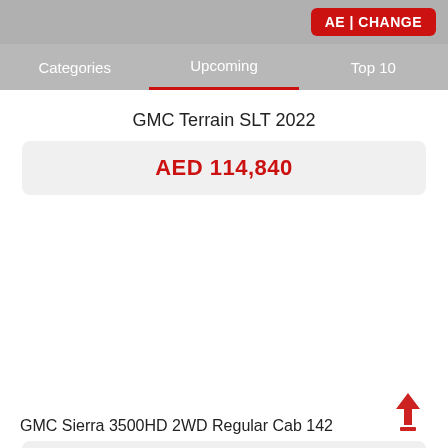AE | CHANGE
Categories   Upcoming   Top 10
GMC Terrain SLT 2022
AED 114,840
GMC Sierra 3500HD 2WD Regular Cab 142
AED 134,280